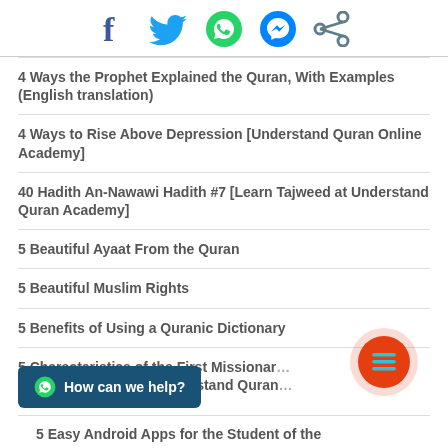[Figure (infographic): Social media share icons: Facebook, Twitter, WhatsApp, Messenger, Share]
4 Ways the Prophet Explained the Quran, With Examples (English translation)
4 Ways to Rise Above Depression [Understand Quran Online Academy]
40 Hadith An-Nawawi Hadith #7 [Learn Tajweed at Understand Quran Academy]
5 Beautiful Ayaat From the Quran
5 Beautiful Muslim Rights
5 Benefits of Using a Quranic Dictionary
5 Characteristics of the First Missionary of Islam [E-Learning at Understand Quran
How can we help?
5 Easy Android Apps for the Student of the